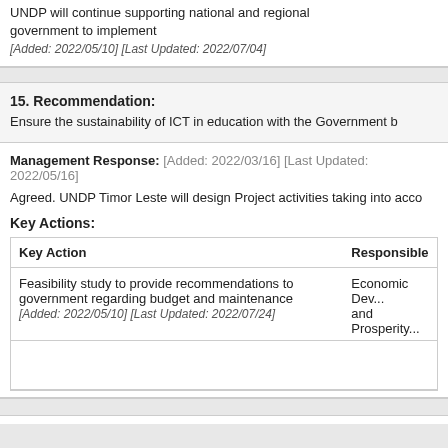UNDP will continue supporting national and regional government to implement
[Added: 2022/05/10] [Last Updated: 2022/07/04]
15. Recommendation:
Ensure the sustainability of ICT in education with the Government b...
Management Response: [Added: 2022/03/16] [Last Updated: 2022/05/16]
Agreed. UNDP Timor Leste will design Project activities taking into acco...
Key Actions:
| Key Action | Responsible |
| --- | --- |
| Feasibility study to provide recommendations to government regarding budget and maintenance
[Added: 2022/05/10] [Last Updated: 2022/07/24] | Economic Dev... and Prosperity... |